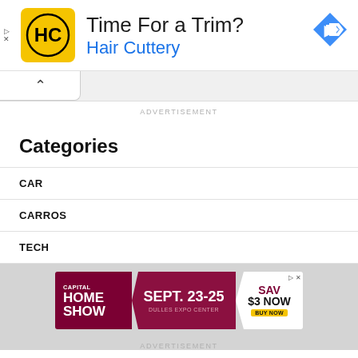[Figure (other): Hair Cuttery advertisement banner: HC logo on yellow background, 'Time For a Trim?' headline, 'Hair Cuttery' subtitle in blue, blue diamond navigation arrow top right]
[Figure (other): Capital Home Show advertisement banner: dark red background, 'CAPITAL HOME SHOW' left, 'SEPT. 23-25 DULLES EXPO CENTER' center, 'SAVE $3 NOW BUY NOW' right on white panel with yellow button]
ADVERTISEMENT
Categories
CAR
CARROS
TECH
ADVERTISEMENT